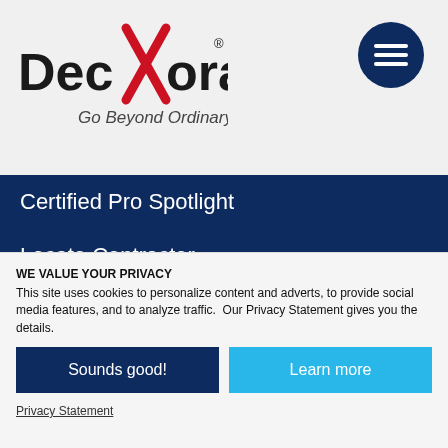[Figure (logo): Deckorators logo with red stylized X and tagline 'Go Beyond Ordinary']
[Figure (other): Dark navy blue circle with three horizontal white lines (hamburger menu icon)]
Certified Pro Spotlight
Locate Contractor
Where to Buy
RESOURCES
Request Free Catalog
Welcome Kit Sign-up
WE VALUE YOUR PRIVACY
This site uses cookies to personalize content and adverts, to provide social media features, and to analyze traffic.  Our Privacy Statement gives you the details.
Sounds good!
Learn more
Privacy Statement